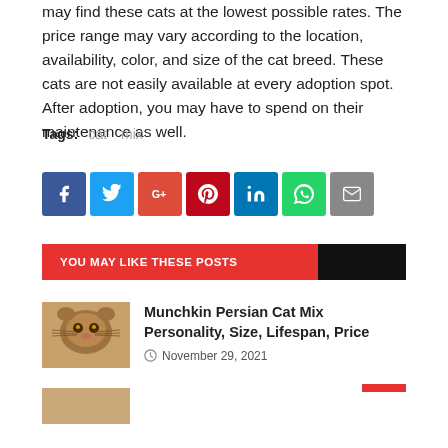may find these cats at the lowest possible rates. The price range may vary according to the location, availability, color, and size of the cat breed. These cats are not easily available at every adoption spot. After adoption, you may have to spend on their maintenance as well.
Tags: cat mix
[Figure (infographic): Social share buttons: Facebook (blue), Twitter (light blue), Google+ (red-orange), Pinterest (red), LinkedIn (blue), WhatsApp (green), Email (grey)]
YOU MAY LIKE THESE POSTS
[Figure (photo): Thumbnail of a Munchkin Persian cat mix showing a close-up of the cat face]
Munchkin Persian Cat Mix Personality, Size, Lifespan, Price
November 29, 2021